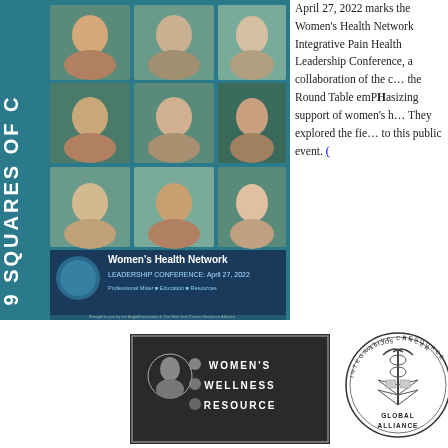[Figure (photo): Women's Health Network Leadership Conference April 27, 2022 poster with 9 squares grid of women's photos, conference title and sponsor information]
April 27, 2022 marks the Women's Health Network Integrative Pain Health Leadership Conference, a collaboration of the organizations featured below. the Round Table emPHasizing networking and support of women's health leadership globally. They explored the fields of integrative pain health to this public event.
[Figure (logo): Women's Wellness Resource logo - dark background with female silhouette icon]
[Figure (logo): Integrative Cancer Resource Society Global Alliance seal/logo - circular medallion with caduceus]
[Figure (logo): Diagnostic organization seal - partially visible on right edge]